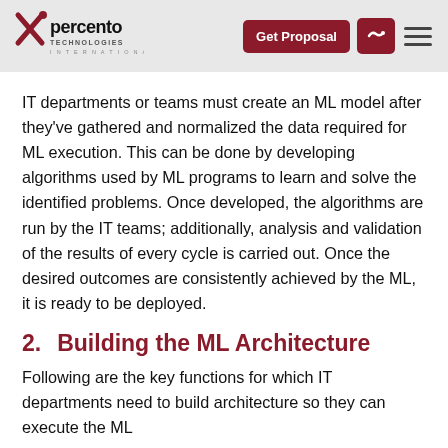percento Technologies International — Get Proposal
IT departments or teams must create an ML model after they've gathered and normalized the data required for ML execution. This can be done by developing algorithms used by ML programs to learn and solve the identified problems. Once developed, the algorithms are run by the IT teams; additionally, analysis and validation of the results of every cycle is carried out. Once the desired outcomes are consistently achieved by the ML, it is ready to be deployed.
2.    Building the ML Architecture
Following are the key functions for which IT departments need to build architecture so they can execute the ML